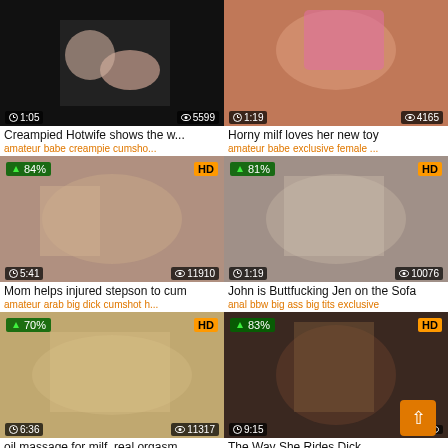[Figure (screenshot): Video thumbnail grid - 6 adult video thumbnails with titles and tags]
Creampied Hotwife shows the w...
amateur babe creampie cumsho...
Horny milf loves her new toy
amateur babe exclusive female ...
Mom helps injured stepson to cum
amateur arab big dick cumshot h...
John is Buttfucking Jen on the Sofa
anal bbw big ass big tits exclusive
oil massage for milf, real orgasm
The Way She Rides Dick...